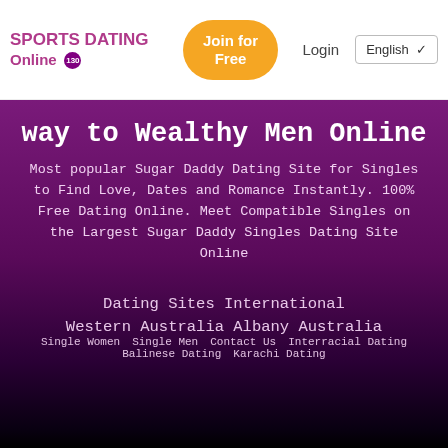SPORTS DATING Online [130] | Join for Free | Login | English
way to Wealthy Men Online
Most popular Sugar Daddy Dating Site for Singles to Find Love, Dates and Romance Instantly. 100% Free Dating Online. Meet Compatible Singles on the Largest Sugar Daddy Singles Dating Site Online
Dating Sites International
Western Australia Albany Australia
Single Women | Single Men | Contact Us | Interracial Dating | Balinese Dating | Karachi Dating